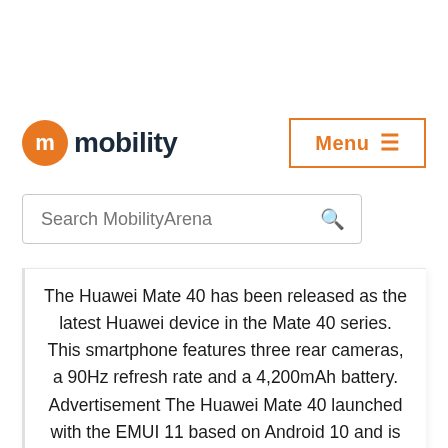[Figure (logo): MobilityArena logo with orange circular 'm' icon and dark text 'mobility']
[Figure (other): Menu button with orange border and text 'Menu ≡']
[Figure (other): Search bar with placeholder 'Search MobilityArena' and search icon]
The Huawei Mate 40 has been released as the latest Huawei device in the Mate 40 series. This smartphone features three rear cameras, a 90Hz refresh rate and a 4,200mAh battery. Advertisement The Huawei Mate 40 launched with the EMUI 11 based on Android 10 and is built around a 6.5-inch HD+ (1080×2376 pixels) OLED… Read More